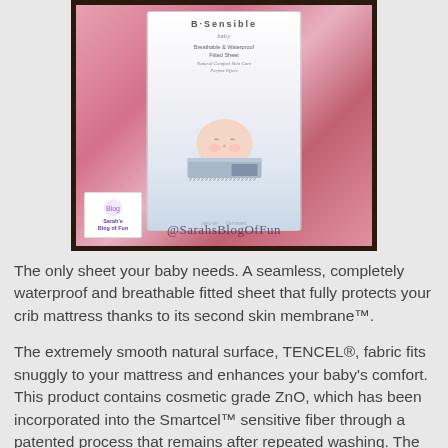[Figure (photo): Photo of a B-Sensible brand breathable and waterproof fitted sheet product package displayed against a pink background. The package shows a baby's face and a sheet sample. A blog logo for 'Sarah's Blog of Fun' is in the bottom left corner, and a watermark '@SarahsBlogOfFun' appears across the bottom.]
The only sheet your baby needs. A seamless, completely waterproof and breathable fitted sheet that fully protects your crib mattress thanks to its second skin membrane™.
The extremely smooth natural surface, TENCEL®, fabric fits snuggly to your mattress and enhances your baby's comfort. This product contains cosmetic grade ZnO, which has been incorporated into the Smartcel™ sensitive fiber through a patented process that remains after repeated washing. The